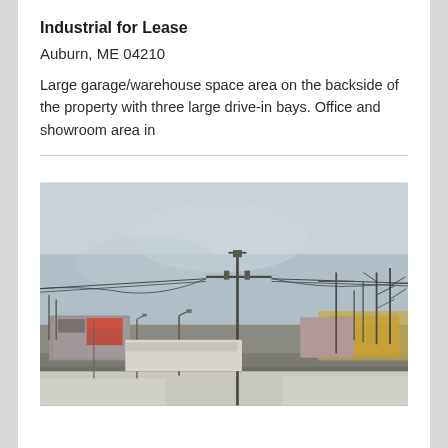Industrial for Lease
Auburn, ME 04210
Large garage/warehouse space area on the backside of the property with three large drive-in bays. Office and showroom area in
[Figure (photo): Exterior street-level photograph of a commercial/industrial property in Auburn, ME. Shows a grey overcast sky, utility poles with power lines, bare trees on the right, and low commercial buildings along a roadway with snow on the ground.]